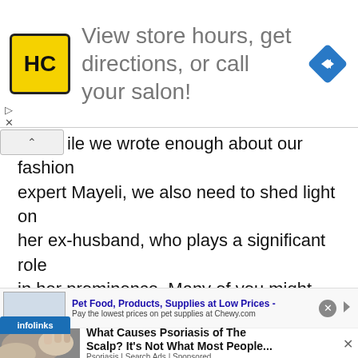[Figure (screenshot): Advertisement banner: HC logo (yellow square with black HC letters), text 'View store hours, get directions, or call your salon!', blue diamond navigation arrow icon on right]
ile we wrote enough about our fashion expert Mayeli, we also need to shed light on her ex-husband, who plays a significant role in her prominence. Many of you might know Lupillo as a prominent singer and songwriter from Mexico but now is based in America. He is a Grammy-award nominee and a winner as well. So far as we’re curious about his career beginning, he first aspired to be a
[Figure (screenshot): Infolinks ad overlay and bottom ad strip for Chewy pet food: 'Pet Food, Products, Supplies at Low Prices - Pay the lowest prices on pet supplies at Chewy.com']
[Figure (screenshot): Ad with scalp/psoriasis image and text: 'What Causes Psoriasis of The Scalp? It’s Not What Most People... Psoriasis | Search Ads | Sponsored']